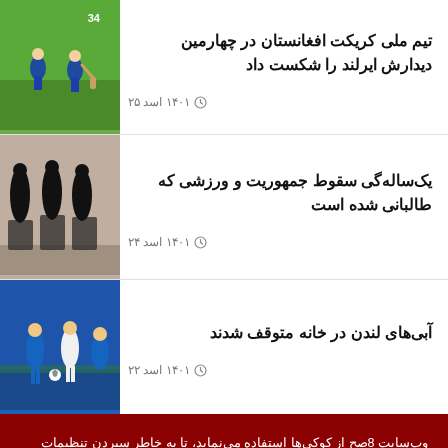تیم ملی کریکت افغانستان در چهارمین دیدارش ایرلند را شکست داد
۲۵ اسد ۱۴۰۱
[Figure (photo): Cricket match photo showing players in blue uniforms on a green field]
یک‌ساله‌گی سقوط جمهوریت و ورزشی که طالبانی شده است
۲۴ اسد ۱۴۰۱
[Figure (photo): Women in black coverings standing near sports equipment]
آبی‌های لندن در خانه متوقف شدند
۲۲ اسد ۱۴۰۱
[Figure (photo): Football match photo showing Chelsea (blue) and opponent players]
وب‌سایت 8صح از کوکی‌ها استفاده می‌نماید، تا به خاطر سپردن تنظیمات شما، مناسب‌ترین تجربه را به شما ارائه دهد. با کلیک بر روی «پذیرفتن همه»، با استفاده از همه کوکی‌ها موافقت می‌کنید. با این حال، می‌توانید برای ارائه رضایت کنترل‌شده از «تنظیمات کوکی» بازدید نمایید.
پذیرفتن همه
تنظیمات کوکی